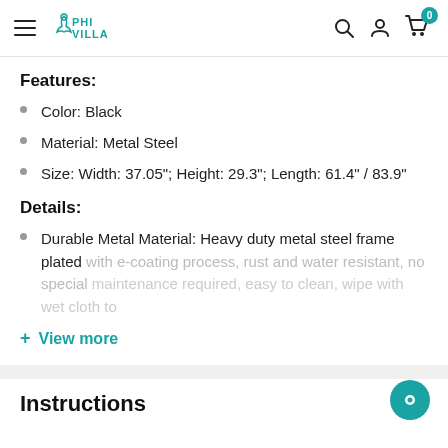PHI VILLA navigation bar with hamburger menu, logo, search, account, and cart icons
Features:
Color: Black
Material: Metal Steel
Size: Width: 37.05"; Height: 29.3"; Length: 61.4" / 83.9"
Details:
Durable Metal Material: Heavy duty metal steel frame plated with e-coating process, rust and water resistant, no special maintenance required, easy to clean, wipe with wet cloth to
+ View more
Instructions